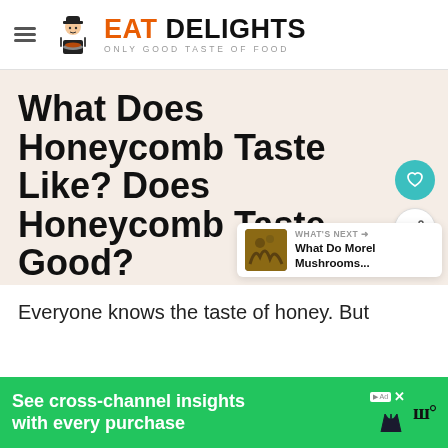EAT DELIGHTS — ONLY GOOD TASTE OF FOOD
What Does Honeycomb Taste Like? Does Honeycomb Taste Good?
[Figure (infographic): Floating action buttons: teal heart icon and white share icon]
[Figure (infographic): What's Next card with mushroom thumbnail image and text 'What Do Morel Mushrooms...']
Everyone knows the taste of honey. But
[Figure (infographic): Green advertisement banner: 'See cross-channel insights with every purchase' with ad badge and close button, alongside a 'w' logo and chat icon]